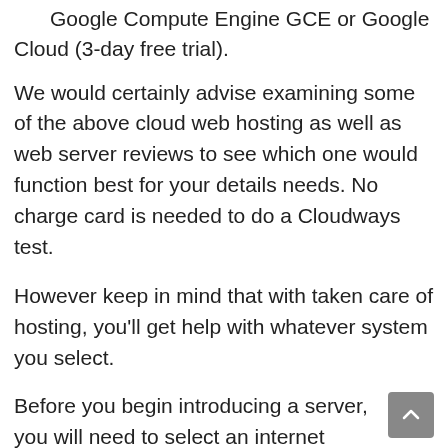Google Compute Engine GCE or Google Cloud (3-day free trial).
We would certainly advise examining some of the above cloud web hosting as well as web server reviews to see which one would function best for your details needs. No charge card is needed to do a Cloudways test.
However keep in mind that with taken care of hosting, you'll get help with whatever system you select.
Before you begin introducing a server, you will need to select an internet application. A web application enables you to create an internet site based upon your business's demands. From WordPress to Joomla and also Drupal, Magento to Prestashop, PHP to CRM, you can easily launch any kind of kind of website that meets your hosting service demands.